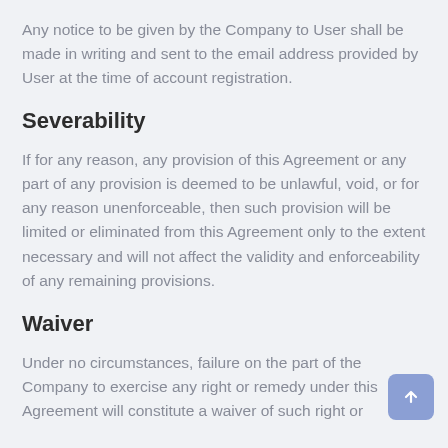Any notice to be given by the Company to User shall be made in writing and sent to the email address provided by User at the time of account registration.
Severability
If for any reason, any provision of this Agreement or any part of any provision is deemed to be unlawful, void, or for any reason unenforceable, then such provision will be limited or eliminated from this Agreement only to the extent necessary and will not affect the validity and enforceability of any remaining provisions.
Waiver
Under no circumstances, failure on the part of the Company to exercise any right or remedy under this Agreement will constitute a waiver of such right or